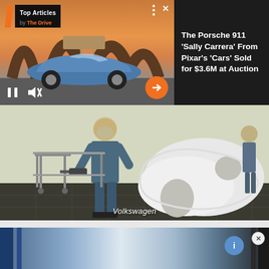[Figure (screenshot): Top Articles ad overlay showing a blue Porsche 911 car against a sunset desert background with arches, with 'Top Articles by The Drive' badge, media controls (pause, mute), and navigation arrows]
The Porsche 911 'Sally Carrera' From Pixar's 'Cars' Sold for $3.6M at Auction
[Figure (photo): Factory worker in blue coveralls and respirator mask painting large white car body panels (hood/fenders) in a Volkswagen paint shop]
Volkswagen
[Figure (screenshot): Bottom advertisement area partially visible, showing a blurred car interior with a circular info icon and close button]